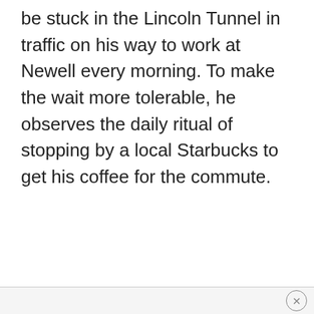be stuck in the Lincoln Tunnel in traffic on his way to work at Newell every morning. To make the wait more tolerable, he observes the daily ritual of stopping by a local Starbucks to get his coffee for the commute.
×